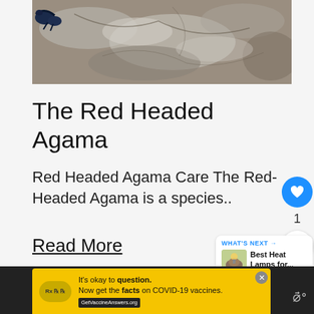[Figure (photo): Close-up photo of rocky textured surface (stone/bark) with a partially visible lizard (dark blue/black) in the upper left corner. The rock has mottled gray, white, and brown tones.]
The Red Headed Agama
Red Headed Agama Care The Red-Headed Agama is a species..
Read More
[Figure (other): WHAT'S NEXT arrow label with thumbnail image and text: Best Heat Lamps for...]
[Figure (infographic): Advertisement banner: It's okay to question. Now get the facts on COVID-19 vaccines. GetVaccineAnswers.org]